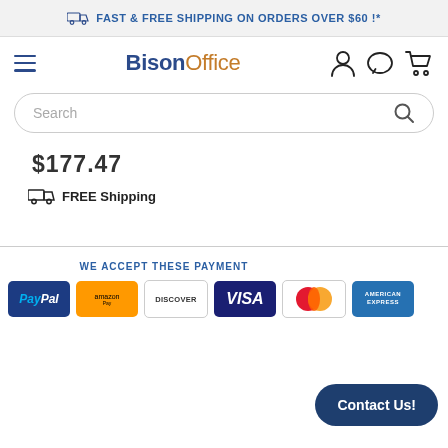FAST & FREE SHIPPING ON ORDERS OVER $60 !*
[Figure (logo): BisonOffice logo with hamburger menu and navigation icons (user, chat, cart)]
[Figure (screenshot): Search bar with placeholder text 'Search' and search icon]
$177.47
FREE Shipping
WE ACCEPT THESE PAYMENT
[Figure (other): Payment method logos: PayPal, Amazon, Discover, Visa, MasterCard, American Express]
Contact Us!